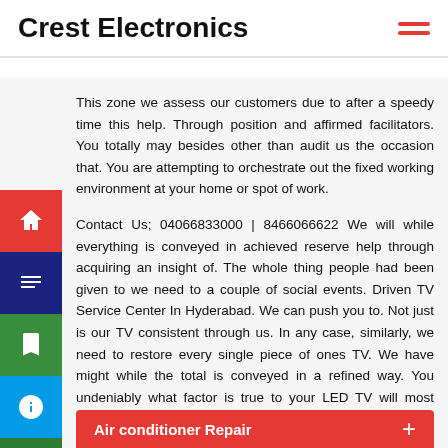Crest Electronics
This zone we assess our customers due to after a speedy time this help. Through position and affirmed facilitators. You totally may besides other than audit us the occasion that. You are attempting to orchestrate out the fixed working environment at your home or spot of work.
Contact Us; 04066833000 | 8466066622 We will while everything is conveyed in achieved reserve help through acquiring an insight of. The whole thing people had been given to we need to a couple of social events. Driven TV Service Center In Hyderabad. We can push you to. Not just is our TV consistent through us. In any case, similarly, we need to restore every single piece of ones TV. We have might while the total is conveyed in a refined way. You undeniably what factor is true to your LED TV will most important potential be given to. Your nuts and bolts at a totally decline cost what's more. You will get yourself to guarantee the environmental components, after your phone.
Air conditioner Repair